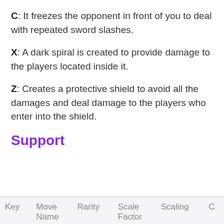C: It freezes the opponent in front of you to deal with repeated sword slashes.
X: A dark spiral is created to provide damage to the players located inside it.
Z: Creates a protective shield to avoid all the damages and deal damage to the players who enter into the shield.
Support
| Key | Move Name | Rarity | Scale Factor | Scaling | C |
| --- | --- | --- | --- | --- | --- |